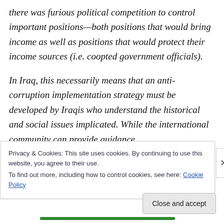there was furious political competition to control important positions—both positions that would bring income as well as positions that would protect their income sources (i.e. coopted government officials).
In Iraq, this necessarily means that an anti-corruption implementation strategy must be developed by Iraqis who understand the historical and social issues implicated. While the international community can provide guidance,
Privacy & Cookies: This site uses cookies. By continuing to use this website, you agree to their use.
To find out more, including how to control cookies, see here: Cookie Policy
Close and accept